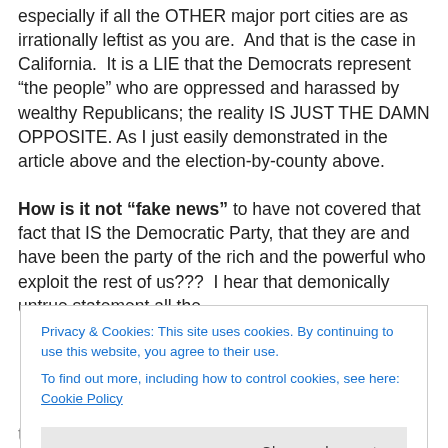especially if all the OTHER major port cities are as irrationally leftist as you are. And that is the case in California. It is a LIE that the Democrats represent “the people” who are oppressed and harassed by wealthy Republicans; the reality IS JUST THE DAMN OPPOSITE. As I just easily demonstrated in the article above and the election-by-county above.

How is it not “fake news” to have not covered that fact that IS the Democratic Party, that they are and have been the party of the rich and the powerful who exploit the rest of us??? I hear that demonically untrue statement all the
Privacy & Cookies: This site uses cookies. By continuing to use this website, you agree to their use.
To find out more, including how to control cookies, see here: Cookie Policy
Close and accept
took over to fund their operations???